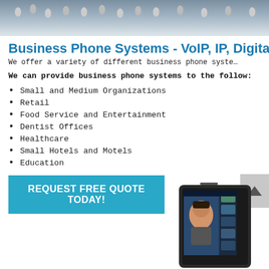[Figure (photo): Header background photo showing blurred crowd of people walking, grey/blue tones]
Business Phone Systems - VoIP, IP, Digital, Un…
We offer a variety of different business phone syste…
We can provide business phone systems to the follow:
Small and Medium Organizations
Retail
Food Service and Entertainment
Dentist Offices
Healthcare
Small Hotels and Motels
Education
[Figure (illustration): Cyan/teal button with text REQUEST FREE QUOTE TODAY!]
[Figure (photo): IP phone device with touchscreen showing a woman's face, dark grey hardware]